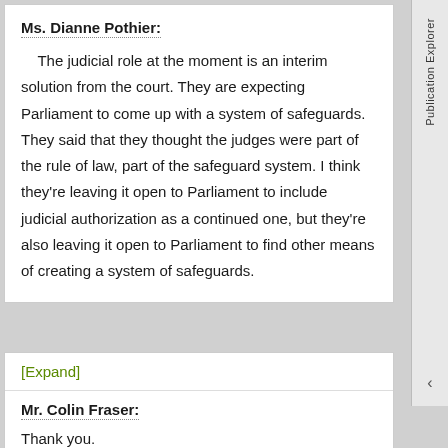Ms. Dianne Pothier:
The judicial role at the moment is an interim solution from the court. They are expecting Parliament to come up with a system of safeguards. They said that they thought the judges were part of the rule of law, part of the safeguard system. I think they're leaving it open to Parliament to include judicial authorization as a continued one, but they're also leaving it open to Parliament to find other means of creating a system of safeguards.
[Expand]
Mr. Colin Fraser:
Thank you.
Publication Explorer